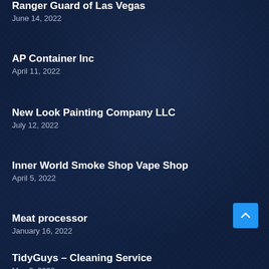Ranger Guard of Las Vegas
June 14, 2022
AP Container Inc
April 11, 2022
New Look Painting Company LLC
July 12, 2022
Inner World Smoke Shop Vape Shop
April 5, 2022
Meat processor
January 16, 2022
TidyGuys – Cleaning Service
May 2, 2022